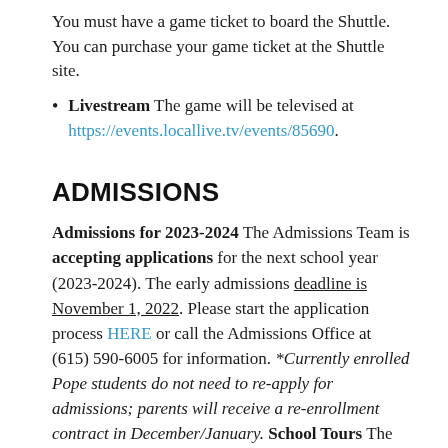You must have a game ticket to board the Shuttle. You can purchase your game ticket at the Shuttle site.
Livestream The game will be televised at https://events.locallive.tv/events/85690.
ADMISSIONS
Admissions for 2023-2024 The Admissions Team is accepting applications for the next school year (2023-2024). The early admissions deadline is November 1, 2022. Please start the application process HERE or call the Admissions Office at (615) 590-6005 for information. *Currently enrolled Pope students do not need to re-apply for admissions; parents will receive a re-enrollment contract in December/January. School Tours The Admissions Team is scheduling school tours. Parents must schedule their tour by completing a